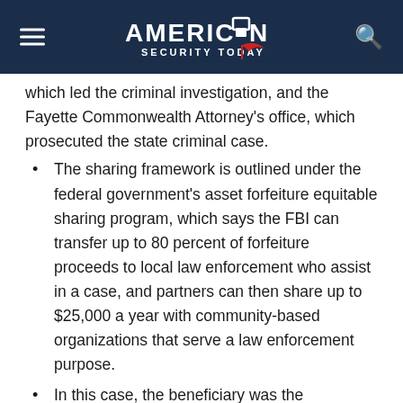American Security Today
which led the criminal investigation, and the Fayette Commonwealth Attorney's office, which prosecuted the state criminal case.
The sharing framework is outlined under the federal government's asset forfeiture equitable sharing program, which says the FBI can transfer up to 80 percent of forfeiture proceeds to local law enforcement who assist in a case, and partners can then share up to $25,000 a year with community-based organizations that serve a law enforcement purpose.
In this case, the beneficiary was the Lexington-based Children's Advocacy Center of the Bluegrass, a non-profit serving abuse victims across 17 counties in Central Kentucky.